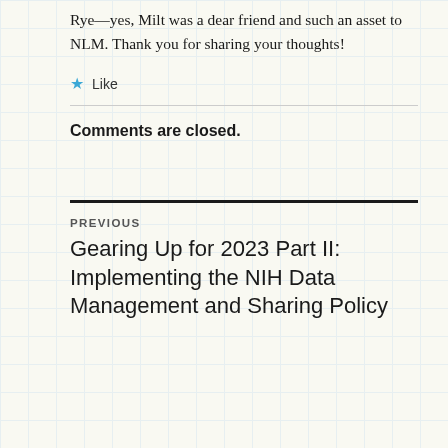Rye—yes, Milt was a dear friend and such an asset to NLM. Thank you for sharing your thoughts!
★ Like
Comments are closed.
PREVIOUS
Gearing Up for 2023 Part II: Implementing the NIH Data Management and Sharing Policy